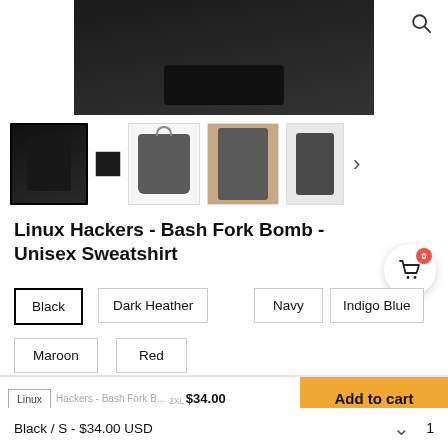[Figure (photo): Product photos of Linux Hackers Bash Fork Bomb Unisex Sweatshirt — main image showing model wearing black sweatshirt, plus thumbnail gallery with 5 thumbnails showing black, dark heather, and grey versions]
Linux Hackers - Bash Fork Bomb - Unisex Sweatshirt
Black
Dark Heather
Navy
Indigo Blue
Maroon
Red
Linux Hackers - Bash Fork B... $34.00   Add to cart
Black / S - $34.00 USD  1